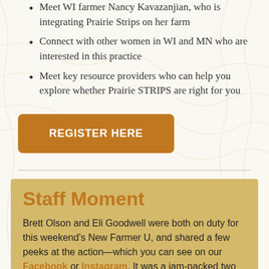Meet WI farmer Nancy Kavazanjian, who is integrating Prairie Strips on her farm
Connect with other women in WI and MN who are interested in this practice
Meet key resource providers who can help you explore whether Prairie STRIPS are right for you
REGISTER HERE
Staff Moment
Brett Olson and Eli Goodwell were both on duty for this weekend's New Farmer U, and shared a few peeks at the action—which you can see on our Facebook or Instagram. It was a jam-packed two days!